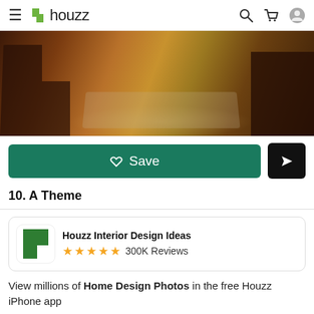houzz
[Figure (photo): Interior living room photo showing wooden furniture, hardwood floors, and a patterned area rug]
Save
10. A Theme
Houzz Interior Design Ideas ★★★★★ 300K Reviews
View millions of Home Design Photos in the free Houzz iPhone app
Continue
Go to Mobile Site